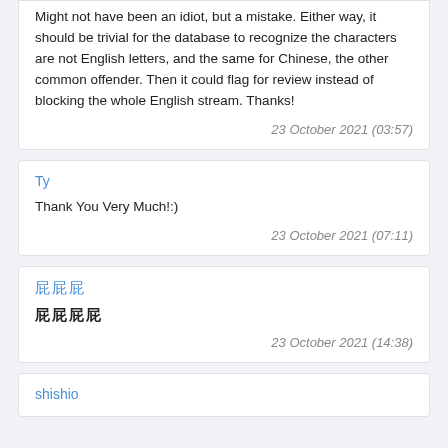Might not have been an idiot, but a mistake. Either way, it should be trivial for the database to recognize the characters are not English letters, and the same for Chinese, the other common offender. Then it could flag for review instead of blocking the whole English stream. Thanks!
23 October 2021 (03:57)
Ty
Thank You Very Much!:)
23 October 2021 (07:11)
[Chinese characters]
[Chinese characters]
23 October 2021 (14:38)
shishio